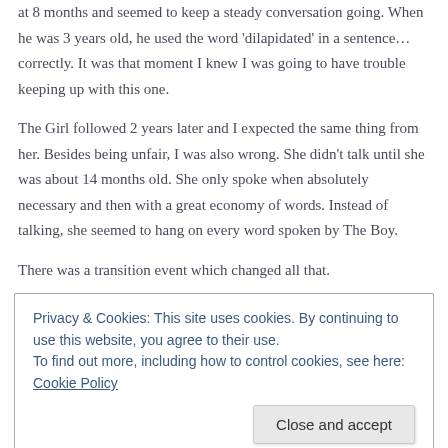at 8 months and seemed to keep a steady conversation going. When he was 3 years old, he used the word 'dilapidated' in a sentence… correctly. It was that moment I knew I was going to have trouble keeping up with this one.
The Girl followed 2 years later and I expected the same thing from her. Besides being unfair, I was also wrong. She didn't talk until she was about 14 months old. She only spoke when absolutely necessary and then with a great economy of words. Instead of talking, she seemed to hang on every word spoken by The Boy.
There was a transition event which changed all that.
Privacy & Cookies: This site uses cookies. By continuing to use this website, you agree to their use.
To find out more, including how to control cookies, see here: Cookie Policy
Close and accept